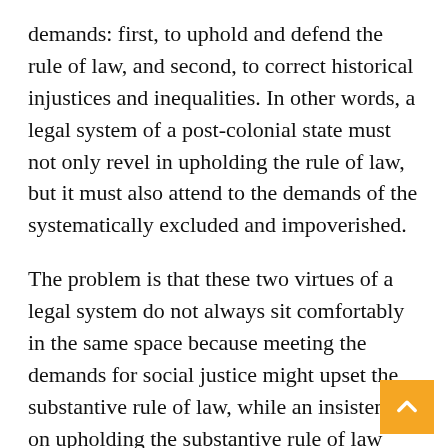demands: first, to uphold and defend the rule of law, and second, to correct historical injustices and inequalities. In other words, a legal system of a post-colonial state must not only revel in upholding the rule of law, but it must also attend to the demands of the systematically excluded and impoverished.
The problem is that these two virtues of a legal system do not always sit comfortably in the same space because meeting the demands for social justice might upset the substantive rule of law, while an insistence on upholding the substantive rule of law might limit access to social justice. Seen from this perspective, there is an argument to be made for a critical assessment of the substantive rule of law so that it may be reconceptualized and